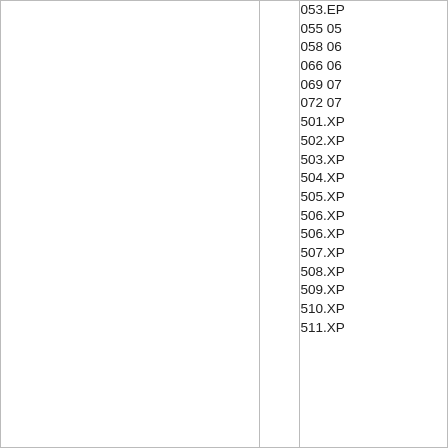|  |  |  |
| --- | --- | --- |
|  |  | 053.EP |
|  |  | 055 05 |
|  |  | 058 06 |
|  |  | 066 06 |
|  |  | 069 07 |
|  |  | 072 07 |
|  |  | 501.XP |
|  |  | 502.XP |
|  |  | 503.XP |
|  |  | 504.XP |
|  |  | 505.XP |
|  |  | 506.XP |
|  |  | 506.XP |
|  |  | 507.XP |
|  |  | 508.XP |
|  |  | 509.XP |
|  |  | 510.XP |
|  |  | 511.XP |